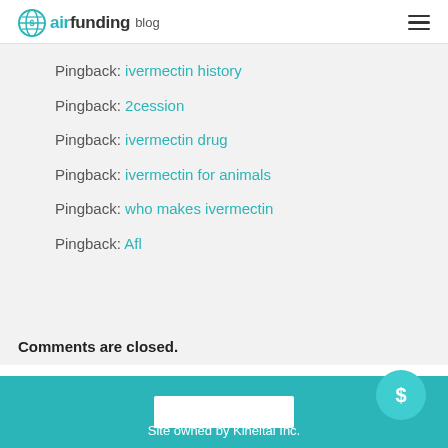airfunding blog
Pingback: ivermectin history
Pingback: 2cession
Pingback: ivermectin drug
Pingback: ivermectin for animals
Pingback: who makes ivermectin
Pingback: Afl
Comments are closed.
Site owned by Kiheitai Inc.